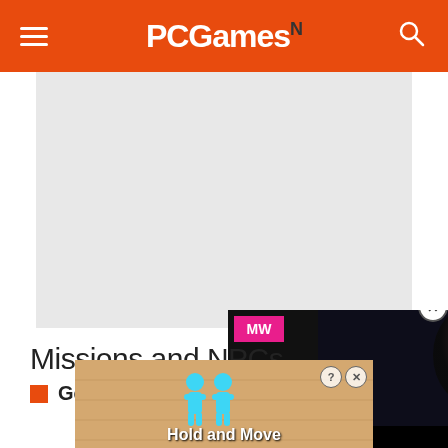PCGamesN
[Figure (photo): Large placeholder/article hero image, light grey background]
Missions and NPCs
General
[Figure (screenshot): Embedded video overlay: MW logo in pink, dark portrait of a person, play button, Embracer Group Buy DT Rights text at bottom]
[Figure (other): Bottom advertisement banner: Hold and Move game with cyan figures, tan/wood background, help and close buttons]